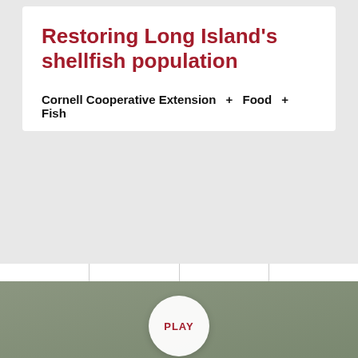Restoring Long Island's shellfish population
Cornell Cooperative Extension + Food + Fish
[Figure (photo): A meadowlark bird with yellow chest and open beak, singing, on a muted gray-green background. A circular white PLAY button is overlaid at the bottom center.]